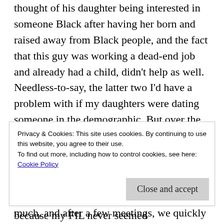thought of his daughter being interested in someone Black after having her born and raised away from Black people, and the fact that this guy was working a dead-end job and already had a child, didn't help as well. Needless-to-say, the latter two I'd have a problem with if my daughters were dating someone in the demographic. But over the years, I guess as he saw I was still in his daughter's life after many years and was not afraid of him in any way, he seemed to change. Now this change wasn't (at least outwardly) the usual go-along-to-get-along because my FIL never seemed
Privacy & Cookies: This site uses cookies. By continuing to use this website, you agree to their use.
To find out more, including how to control cookies, see here:
Cookie Policy
Close and accept
much, and after a few meetings, we quickly